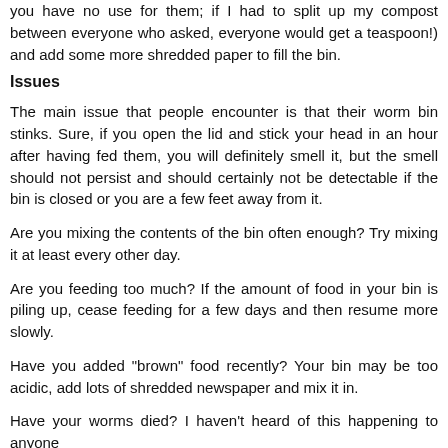you have no use for them; if I had to split up my compost between everyone who asked, everyone would get a teaspoon!) and add some more shredded paper to fill the bin.
Issues
The main issue that people encounter is that their worm bin stinks. Sure, if you open the lid and stick your head in an hour after having fed them, you will definitely smell it, but the smell should not persist and should certainly not be detectable if the bin is closed or you are a few feet away from it.
Are you mixing the contents of the bin often enough? Try mixing it at least every other day.
Are you feeding too much? If the amount of food in your bin is piling up, cease feeding for a few days and then resume more slowly.
Have you added "brown" food recently? Your bin may be too acidic, add lots of shredded newspaper and mix it in.
Have your worms died? I haven't heard of this happening to anyone